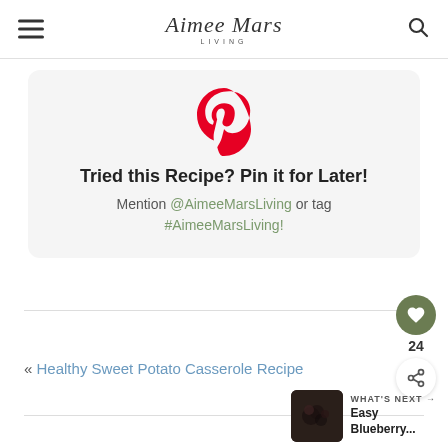Aimee Mars Living
[Figure (infographic): Pinterest card with Pinterest logo icon, bold heading 'Tried this Recipe? Pin it for Later!', subtitle 'Mention @AimeeMarsLiving or tag #AimeeMarsLiving!']
« Healthy Sweet Potato Casserole Recipe
[Figure (photo): Small thumbnail photo of blueberries dish for 'Easy Blueberry...' next article]
WHAT'S NEXT → Easy Blueberry...